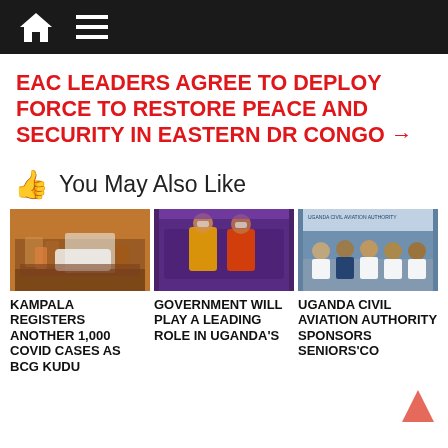Navigation bar with home and menu icons
EAC LEADERS AGREE TO DEPLOY FORCE TO RESTORE PEACE AND SECURITY IN EASTERN DR CONGO →
👍 You May Also Like
[Figure (photo): Crowd scene with a white car, Kampala street]
KAMPALA REGISTERS ANOTHER 1,000 COVID CASES AS BCG KUDU
[Figure (photo): People in hi-vis vests on a bus, government inspectors]
GOVERNMENT WILL PLAY A LEADING ROLE IN UGANDA'S
[Figure (photo): Uganda Civil Aviation Authority press conference]
UGANDA CIVIL AVIATION AUTHORITY SPONSORS SENIORS'CO